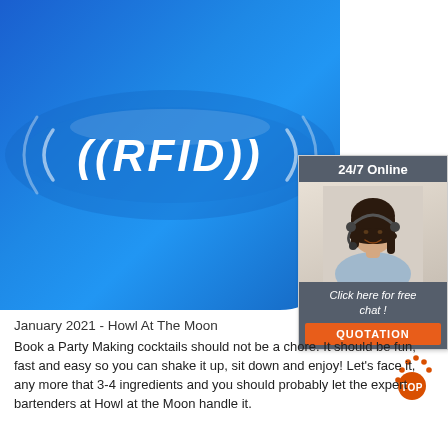[Figure (photo): Blue RFID silicone wristband with white '((RFID))' text printed on it, shown close-up on a white background]
[Figure (infographic): 24/7 Online chat widget showing a smiling woman with headset, 'Click here for free chat!' text and an orange QUOTATION button]
[Figure (other): Orange TOP scroll-to-top icon with dotted arc above an orange circle with the word TOP]
January 2021 - Howl At The Moon
Book a Party Making cocktails should not be a chore. It should be fun, fast and easy so you can shake it up, sit down and enjoy! Let's face it, any more that 3-4 ingredients and you should probably let the expert bartenders at Howl at the Moon handle it.